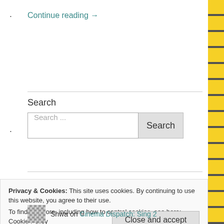Continue reading →
Search
Search ...
Privacy & Cookies: This site uses cookies. By continuing to use this website, you agree to their use. To find out more, including how to control cookies, see here: Cookie Policy
Close and accept
Shwa on Cinema Dispatch: Sing 2